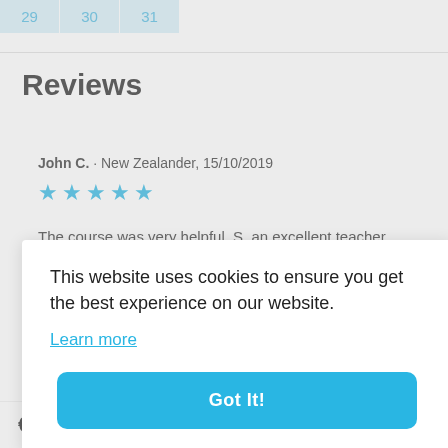| 29 | 30 | 31 |
| --- | --- | --- |
Reviews
John C. · New Zealander, 15/10/2019
[Figure (other): 5 blue star rating icons]
The course was very helpful. S. an excellent teacher
This website uses cookies to ensure you get the best experience on our website.
Learn more
Got It!
€281.30
ails